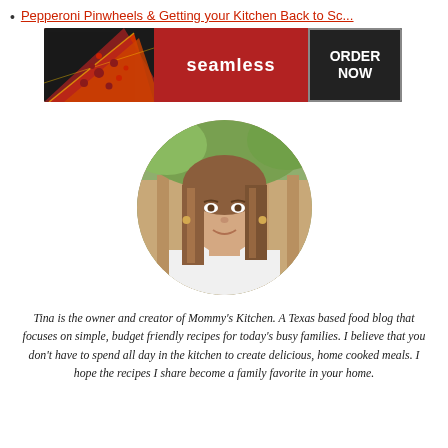Pepperoni Pinwheels & Getting your Kitchen Back to Sc...
[Figure (photo): Seamless food delivery advertisement banner showing pizza slices on the left, 'seamless' brand name in center on red background, and 'ORDER NOW' button on the right on dark background.]
[Figure (photo): Circular cropped portrait photo of Tina, a woman with long brown hair wearing a white top, smiling, outdoors with wooden background.]
Tina is the owner and creator of Mommy's Kitchen. A Texas based food blog that focuses on simple, budget friendly recipes for today's busy families. I believe that you don't have to spend all day in the kitchen to create delicious, home cooked meals. I hope the recipes I share become a family favorite in your home.